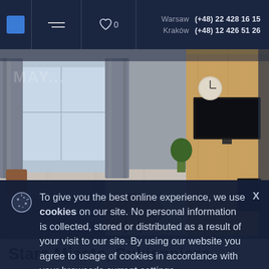Warsaw (+48) 22 428 16 15 | Kraków (+48) 12 426 51 26
[Figure (photo): Interior photo of a modern apartment living room with grey sofa, round wooden coffee table, large windows with grey curtains, and a wood-paneled wall with a flat-screen TV mounted on it.]
To give you the best online experience, we use cookies on our site. No personal information is collected, stored or distributed as a result of your visit to our site. By using our website you agree to usage of cookies in accordance with your browser's current settings.
Stare Miasto, Sukiennicza